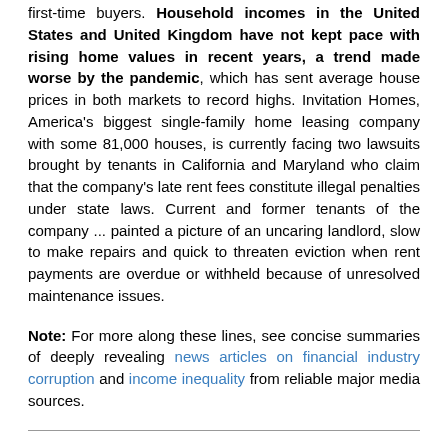first-time buyers. Household incomes in the United States and United Kingdom have not kept pace with rising home values in recent years, a trend made worse by the pandemic, which has sent average house prices in both markets to record highs. Invitation Homes, America's biggest single-family home leasing company with some 81,000 houses, is currently facing two lawsuits brought by tenants in California and Maryland who claim that the company's late rent fees constitute illegal penalties under state laws. Current and former tenants of the company ... painted a picture of an uncaring landlord, slow to make repairs and quick to threaten eviction when rent payments are overdue or withheld because of unresolved maintenance issues.
Note: For more along these lines, see concise summaries of deeply revealing news articles on financial industry corruption and income inequality from reliable major media sources.
US millionaire CEOs saw 29% pay raise while workers' pay fell, report finds
2021-05-11, The Guardian (One of the UK's leading...